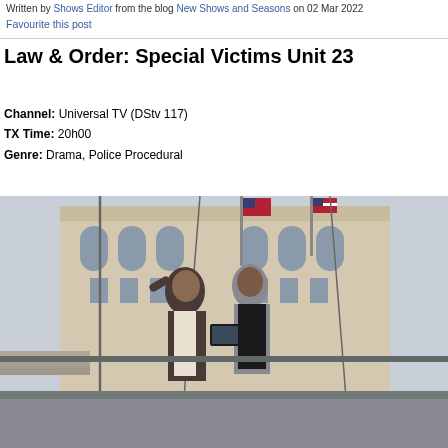Written by Shows Editor from the blog New Shows and Seasons on 02 Mar 2022
Favourite this post
Law & Order: Special Victims Unit 23
Channel: Universal TV (DStv 117)
TX Time: 20h00
Genre: Drama, Police Procedural
[Figure (photo): Two detectives standing outside a courthouse building with American flags, one holding a tablet device. Man in dark blazer with white shirt, woman in gray blazer and black outfit.]